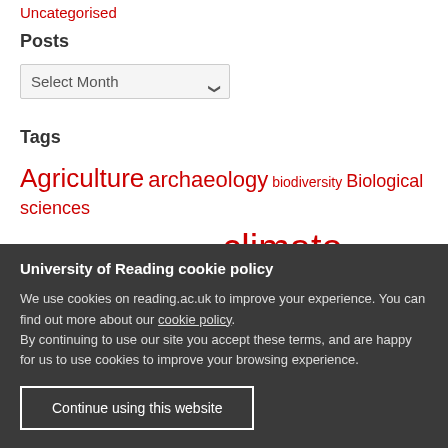Uncategorised
Posts
Select Month
Tags
Agriculture archaeology biodiversity Biological sciences chemistry Classics climate climate change
University of Reading cookie policy
We use cookies on reading.ac.uk to improve your experience. You can find out more about our cookie policy.
By continuing to use our site you accept these terms, and are happy for us to use cookies to improve your browsing experience.
Continue using this website